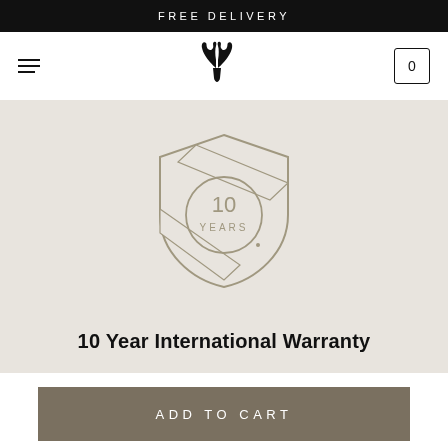FREE DELIVERY
[Figure (logo): Deer antler logo and hamburger menu with cart icon navigation bar]
[Figure (illustration): 10 years warranty shield badge illustration with circle containing text '10 YEARS']
10 Year International Warranty
ADD TO CART
Free Shipping | Free Returns